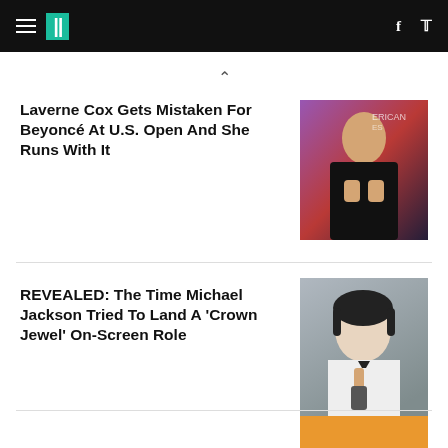HuffPost navigation bar with logo, hamburger menu, Facebook and Twitter icons
Laverne Cox Gets Mistaken For Beyoncé At U.S. Open And She Runs With It
[Figure (photo): Photo of Laverne Cox in a black cutout outfit at a red carpet event]
REVEALED: The Time Michael Jackson Tried To Land A 'Crown Jewel' On-Screen Role
[Figure (photo): Photo of Michael Jackson holding a microphone, smiling, in a white suit]
[Figure (photo): Partial photo of a third article at bottom of page]